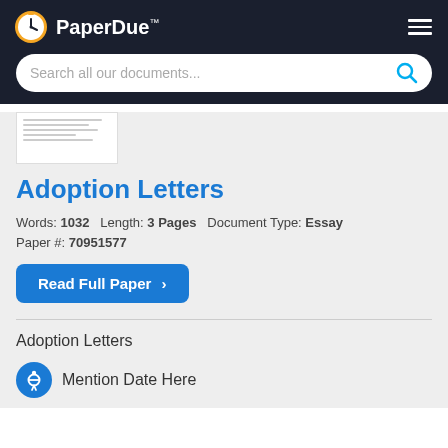[Figure (logo): PaperDue logo with clock icon and brand name]
[Figure (screenshot): Search bar with placeholder text 'Search all our documents...' and blue search icon]
[Figure (illustration): Document preview thumbnail showing lines of text]
Adoption Letters
Words: 1032   Length: 3 Pages   Document Type: Essay
Paper #: 70951577
Read Full Paper ›
Adoption Letters
Mention Date Here